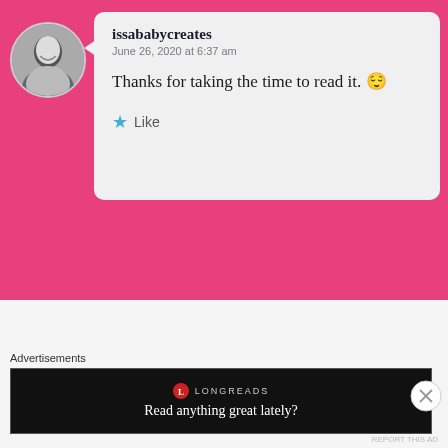issababycreates
June 26, 2020 at 6:37 am
Thanks for taking the time to read it. 😌
Like
Advertisements
[Figure (screenshot): Pocket Casts ad banner: The go-to app for podcast lovers.]
REPORT THIS AD
Sudipta Dev Chakraborti
June 18, 2020 at 1:43 pm
Advertisements
[Figure (screenshot): Longreads ad banner: Read anything great lately?]
REPORT THIS AD